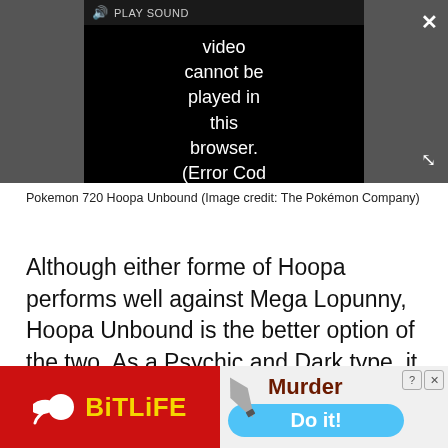[Figure (screenshot): Video player showing error message: 'Video cannot be played in this browser. (Error Cod' with a PLAY SOUND button, close X button, and expand button on dark background.]
Pokemon 720 Hoopa Unbound (Image credit: The Pokémon Company)
Although either forme of Hoopa performs well against Mega Lopunny, Hoopa Unbound is the better option of the two. As a Psychic and Dark type, it brings no relevent weaknesses or resistances to the fight and it will benefit from a Psychic type Mega
[Figure (screenshot): BitLife advertisement banner. Left side red background with sperm logo and yellow BitLife text. Right side shows knife graphic, 'Murder' text in dark red, 'Do it!' blue pill button, and close/help icons.]